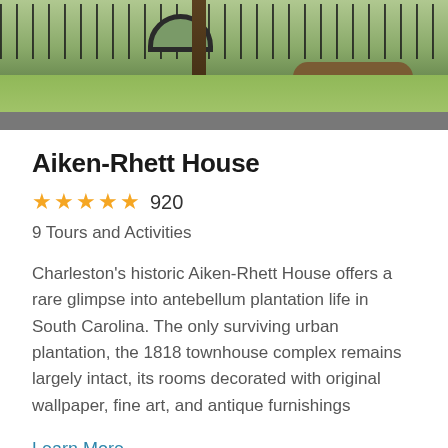[Figure (photo): Outdoor photo of a historic site with a black iron fence, stone arch, trees, green lawn, and a road in the foreground]
Aiken-Rhett House
★★★★★ 920
9 Tours and Activities
Charleston's historic Aiken-Rhett House offers a rare glimpse into antebellum plantation life in South Carolina. The only surviving urban plantation, the 1818 townhouse complex remains largely intact, its rooms decorated with original wallpaper, fine art, and antique furnishings
Learn More